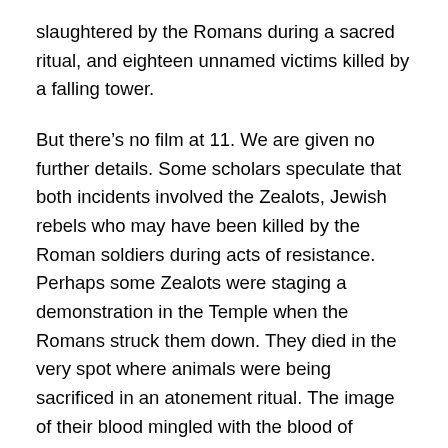slaughtered by the Romans during a sacred ritual, and eighteen unnamed victims killed by a falling tower.
But there's no film at 11. We are given no further details. Some scholars speculate that both incidents involved the Zealots, Jewish rebels who may have been killed by the Roman soldiers during acts of resistance. Perhaps some Zealots were staging a demonstration in the Temple when the Romans struck them down. They died in the very spot where animals were being sacrificed in an atonement ritual. The image of their blood mingled with the blood of animals sacrificed on the altar was a horrific mixture of violence and the sacred. People wondered, if the animals were dying for the people's sins, for whose sins did those Galileans die? Could it have been their own?
As for the Siloam tower, could it have been a rebel